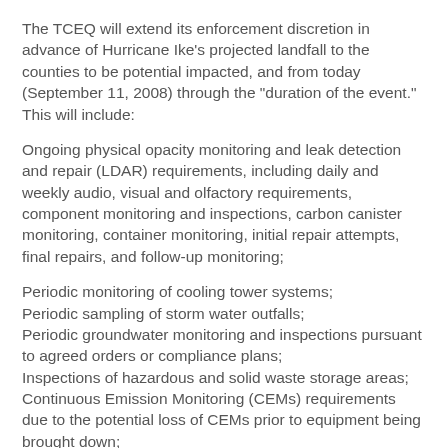The TCEQ will extend its enforcement discretion in advance of Hurricane Ike's projected landfall to the counties to be potential impacted, and from today (September 11, 2008) through the "duration of the event." This will include:
Ongoing physical opacity monitoring and leak detection and repair (LDAR) requirements, including daily and weekly audio, visual and olfactory requirements, component monitoring and inspections, carbon canister monitoring, container monitoring, initial repair attempts, final repairs, and follow-up monitoring;
Periodic monitoring of cooling tower systems;
Periodic sampling of storm water outfalls;
Periodic groundwater monitoring and inspections pursuant to agreed orders or compliance plans;
Inspections of hazardous and solid waste storage areas;
Continuous Emission Monitoring (CEMs) requirements due to the potential loss of CEMs prior to equipment being brought down;
State and federal NSPS, NESHAP and MACT requirements regarding flare operations and monitoring due to potential